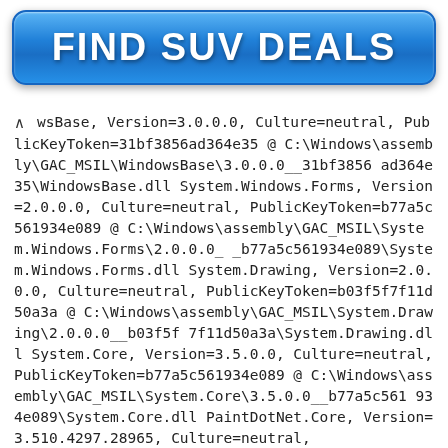[Figure (other): Blue button with text FIND SUV DEALS]
^ wsBase, Version=3.0.0.0, Culture=neutral, PublicKeyToken=31bf3856ad364e35 @ C:\Windows\assembly\GAC_MSIL\WindowsBase\3.0.0.0__31bf3856ad364e35\WindowsBase.dll System.Windows.Forms, Version=2.0.0.0, Culture=neutral, PublicKeyToken=b77a5c561934e089 @ C:\Windows\assembly\GAC_MSIL\System.Windows.Forms\2.0.0.0_b77a5c561934e089\System.Windows.Forms.dll System.Drawing, Version=2.0.0.0, Culture=neutral, PublicKeyToken=b03f5f7f11d50a3a @ C:\Windows\assembly\GAC_MSIL\System.Drawing\2.0.0.0__b03f5f7f11d50a3a\System.Drawing.dll System.Core, Version=3.5.0.0, Culture=neutral, PublicKeyToken=b77a5c561934e089 @ C:\Windows\assembly\GAC_MSIL\System.Core\3.5.0.0__b77a5c561934e089\System.Core.dll PaintDotNet.Core, Version=3.510.4297.28965, Culture=neutral,